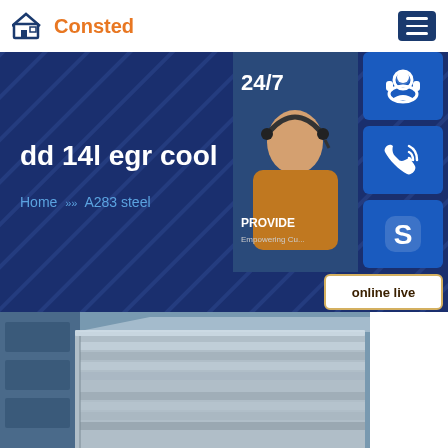Consted
[Figure (screenshot): Website screenshot showing Consted logo, navigation header with hamburger menu, dark blue banner with title 'dd 14l egr cool' and breadcrumb 'Home >> A283 steel', customer service widget with 24/7 badge, headset icon, phone icon, Skype icon, online live button, and steel plates photo at bottom]
dd 14l egr cool
Home >> A283 steel
24/7
PROVIDE
Empowering Cu...
online live